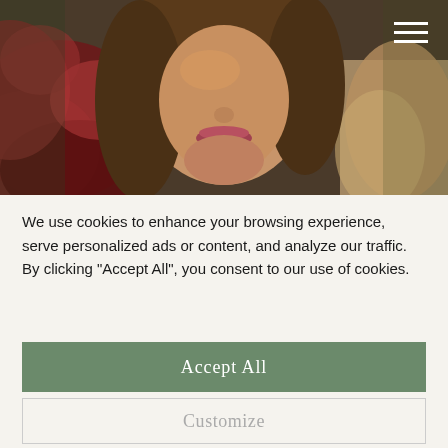[Figure (photo): Close-up portrait of a young woman with brown wavy hair surrounded by dark red autumn leaves and dried grasses. A hamburger menu icon (three white horizontal lines) is visible in the top right corner.]
We use cookies to enhance your browsing experience, serve personalized ads or content, and analyze our traffic. By clicking "Accept All", you consent to our use of cookies.
Accept All
Customize
Reject All